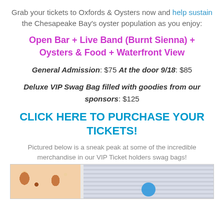Grab your tickets to Oxfords & Oysters now and help sustain the Chesapeake Bay's oyster population as you enjoy:
Open Bar + Live Band (Burnt Sienna) + Oysters & Food + Waterfront View
General Admission: $75 At the door 9/18: $85
Deluxe VIP Swag Bag filled with goodies from our sponsors: $125
CLICK HERE TO PURCHASE YOUR TICKETS!
Pictured below is a sneak peak at some of the incredible merchandise in our VIP Ticket holders swag bags!
[Figure (photo): Photo strip showing VIP swag bag merchandise items including patterned fabric and accessories]